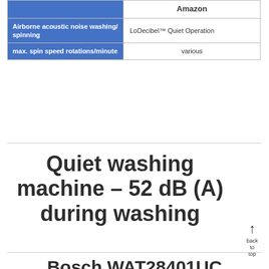|  | Amazon |
| --- | --- |
| Airborne acoustic noise washing/ spinning | LoDecibel™ Quiet Operation |
| max. spin speed rotations/minute | various |
Quiet washing machine – 52 dB (A) during washing
back to top
Bosch WAT28401UC